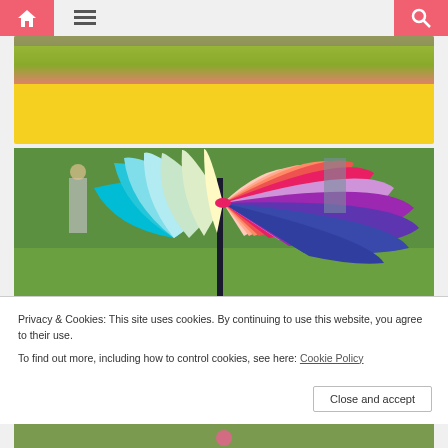Navigation bar with home, menu, and search icons
[Figure (photo): Yellow banner area with pink strip at top, partial photo of outdoor scene visible at top]
[Figure (photo): Rainbow colored umbrella photographed from below against outdoor garden/park background with green grass]
Privacy & Cookies: This site uses cookies. By continuing to use this website, you agree to their use.
To find out more, including how to control cookies, see here: Cookie Policy
Close and accept
[Figure (photo): Partial bottom photo strip showing outdoor scene]